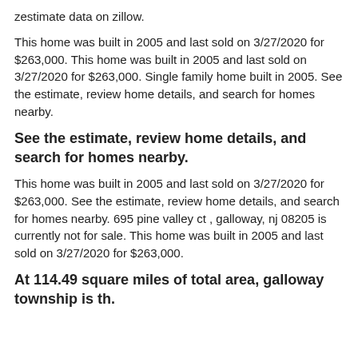zestimate data on zillow.
This home was built in 2005 and last sold on 3/27/2020 for $263,000. This home was built in 2005 and last sold on 3/27/2020 for $263,000. Single family home built in 2005. See the estimate, review home details, and search for homes nearby.
See the estimate, review home details, and search for homes nearby.
This home was built in 2005 and last sold on 3/27/2020 for $263,000. See the estimate, review home details, and search for homes nearby. 695 pine valley ct , galloway, nj 08205 is currently not for sale. This home was built in 2005 and last sold on 3/27/2020 for $263,000.
At 114.49 square miles of total area, galloway township is th.